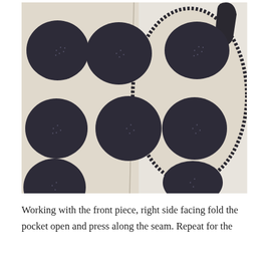[Figure (photo): Close-up photograph of fabric pieces with large dark charcoal/navy polka dots on a cream/natural linen background. Two fabric pieces are shown — one flat rectangular piece on the left and one oval/elliptical shaped piece on the right with a dark stitched border edge. A seam is visible down the center where the pieces meet.]
Working with the front piece, right side facing fold the pocket open and press along the seam. Repeat for the